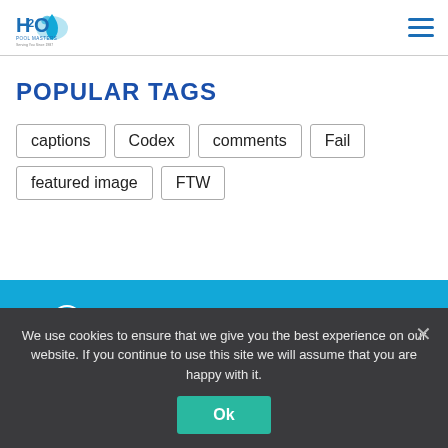[Figure (logo): H2O logo with water droplet graphic and tagline]
POPULAR TAGS
captions
Codex
comments
Fail
featured image
FTW
VIRGINIA
8:00 AM – 6:00 PM / 6 Days
We use cookies to ensure that we give you the best experience on our website. If you continue to use this site we will assume that you are happy with it.
Ok